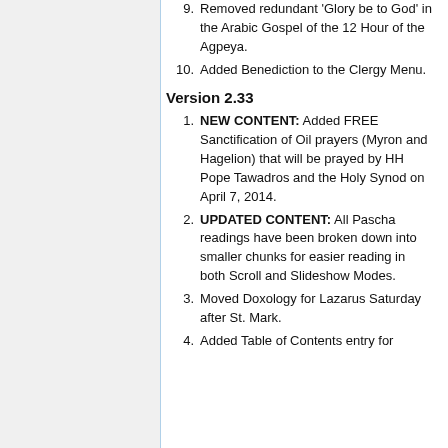9. Removed redundant 'Glory be to God' in the Arabic Gospel of the 12 Hour of the Agpeya.
10. Added Benediction to the Clergy Menu.
Version 2.33
1. NEW CONTENT: Added FREE Sanctification of Oil prayers (Myron and Hagelion) that will be prayed by HH Pope Tawadros and the Holy Synod on April 7, 2014.
2. UPDATED CONTENT: All Pascha readings have been broken down into smaller chunks for easier reading in both Scroll and Slideshow Modes.
3. Moved Doxology for Lazarus Saturday after St. Mark.
4. Added Table of Contents entry for